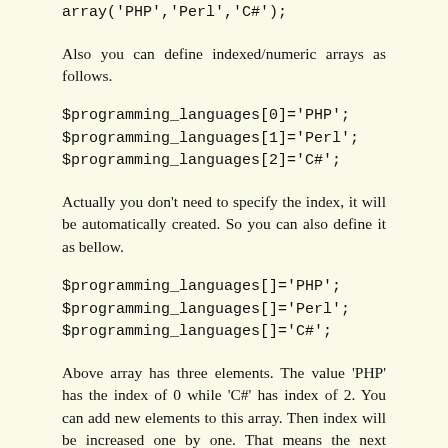array('PHP','Perl','C#');
Also you can define indexed/numeric arrays as follows.
$programming_languages[0]='PHP';
$programming_languages[1]='Perl';
$programming_languages[2]='C#';
Actually you don't need to specify the index, it will be automatically created. So you can also define it as bellow.
$programming_languages[]='PHP';
$programming_languages[]='Perl';
$programming_languages[]='C#';
Above array has three elements. The value 'PHP' has the index of 0 while 'C#' has index of 2. You can add new elements to this array. Then index will be increased one by one. That means the next element index will be 3. You can use that integer index to